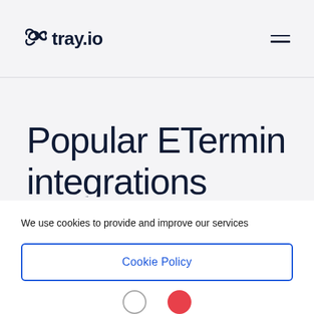[Figure (logo): tray.io logo with infinity-link icon and wordmark in dark navy]
Popular ETermin
We use cookies to provide and improve our services
Cookie Policy
Accept & Close